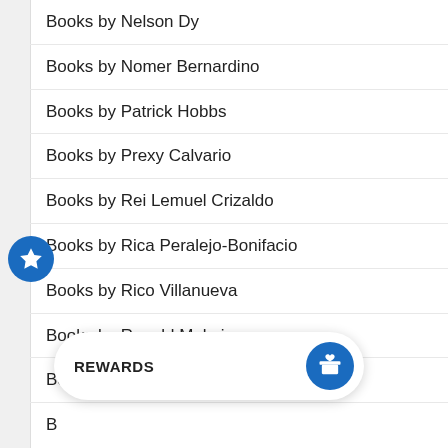Books by Nelson Dy
Books by Nomer Bernardino
Books by Patrick Hobbs
Books by Prexy Calvario
Books by Rei Lemuel Crizaldo
Books by Rica Peralejo-Bonifacio
Books by Rico Villanueva
Books by Ronald Molmisa
Books by Ru Dela Torre
B
Books by Thelma Nambu